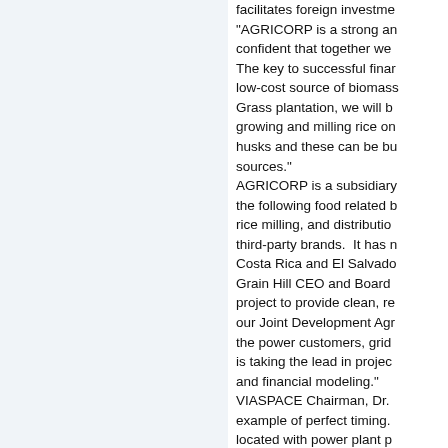facilitates foreign investme... "AGRICORP is a strong an... confident that together we ... The key to successful finar... low-cost source of biomass... Grass plantation, we will b... growing and milling rice on... husks and these can be bu... sources." AGRICORP is a subsidiary ... the following food related b... rice milling, and distributio... third-party brands.  It has n... Costa Rica and El Salvado... Grain Hill CEO and Board ... project to provide clean, re... our Joint Development Agr... the power customers, grid ... is taking the lead in projec... and financial modeling." VIASPACE Chairman, Dr. ... example of perfect timing. ... located with power plant p... project with AGRICORP in... replicated anywhere there...